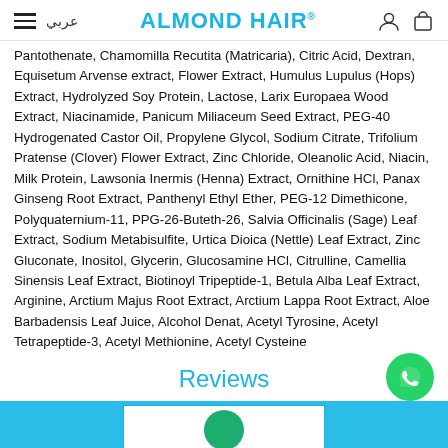عربي | ALMOND HAIR
Pantothenate, Chamomilla Recutita (Matricaria), Citric Acid, Dextran, Equisetum Arvense extract, Flower Extract, Humulus Lupulus (Hops) Extract, Hydrolyzed Soy Protein, Lactose, Larix Europaea Wood Extract, Niacinamide, Panicum Miliaceum Seed Extract, PEG-40 Hydrogenated Castor Oil, Propylene Glycol, Sodium Citrate, Trifolium Pratense (Clover) Flower Extract, Zinc Chloride, Oleanolic Acid, Niacin, Milk Protein, Lawsonia Inermis (Henna) Extract, Ornithine HCl, Panax Ginseng Root Extract, Panthenyl Ethyl Ether, PEG-12 Dimethicone, Polyquaternium-11, PPG-26-Buteth-26, Salvia Officinalis (Sage) Leaf Extract, Sodium Metabisulfite, Urtica Dioica (Nettle) Leaf Extract, Zinc Gluconate, Inositol, Glycerin, Glucosamine HCl, Citrulline, Camellia Sinensis Leaf Extract, Biotinoyl Tripeptide-1, Betula Alba Leaf Extract, Arginine, Arctium Majus Root Extract, Arctium Lappa Root Extract, Aloe Barbadensis Leaf Juice, Alcohol Denat, Acetyl Tyrosine, Acetyl Tetrapeptide-3, Acetyl Methionine, Acetyl Cysteine
Reviews